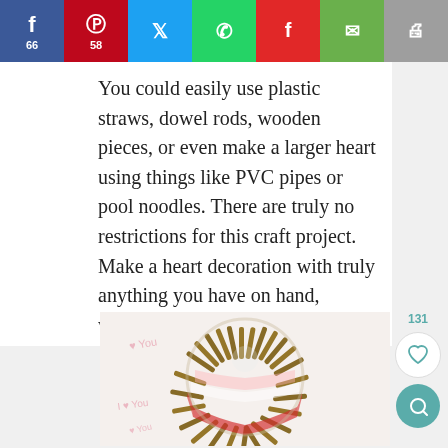[Figure (screenshot): Social media share bar with Facebook (66), Pinterest (58), Twitter, WhatsApp, Flipboard, Email, and Print buttons]
You could easily use plastic straws, dowel rods, wooden pieces, or even make a larger heart using things like PVC pipes or pool noodles. There are truly no restrictions for this craft project. Make a heart decoration with truly anything you have on hand, whether it is wood or not!
[Figure (photo): A heart-shaped decoration made from wooden sticks/twigs arranged in a heart shape, with red and white painted tips, placed on a white background with pink handwritten 'I love You' text.]